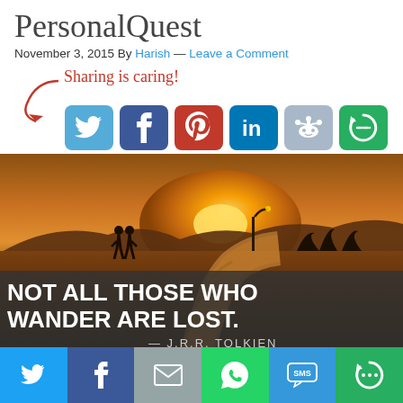PersonalQuest
November 3, 2015 By Harish — Leave a Comment
Sharing is caring!
[Figure (infographic): Social share buttons: Twitter (blue bird), Facebook (blue f), Pinterest (red p), LinkedIn (blue in), Reddit (gray alien), More (green circular arrow)]
[Figure (photo): Sunset photo with two silhouettes walking on a path, with quote overlay: NOT ALL THOSE WHO WANDER ARE LOST. — J.R.R. TOLKIEN]
[Figure (infographic): Bottom share bar with Twitter, Facebook, Email, WhatsApp, SMS, More buttons]